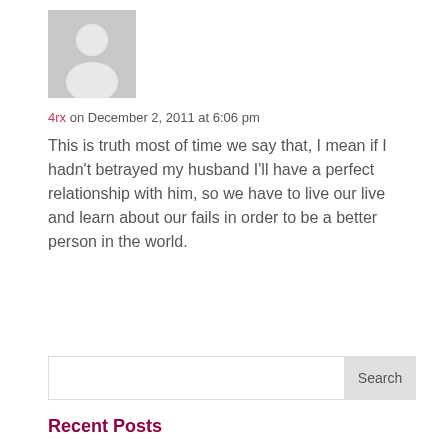[Figure (photo): Default grey avatar placeholder image showing silhouette of a person]
4rx on December 2, 2011 at 6:06 pm
This is truth most of time we say that, I mean if I hadn't betrayed my husband I'll have a perfect relationship with him, so we have to live our live and learn about our fails in order to be a better person in the world.
Search
Recent Posts